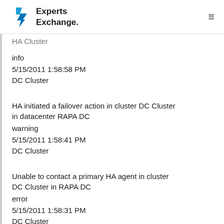Experts Exchange
HA Cluster
info
5/15/2011 1:58:58 PM
DC Cluster
HA initiated a failover action in cluster DC Cluster in datacenter RAPA DC
warning
5/15/2011 1:58:41 PM
DC Cluster
Unable to contact a primary HA agent in cluster DC Cluster in RAPA DC
error
5/15/2011 1:58:31 PM
DC Cluster